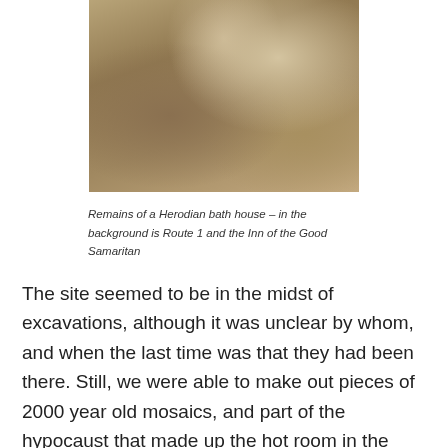[Figure (photo): Photograph of remains of a Herodian bath house with rocky terrain; Route 1 and the Inn of the Good Samaritan visible in the background.]
Remains of a Herodian bath house – in the background is Route 1 and the Inn of the Good Samaritan
The site seemed to be in the midst of excavations, although it was unclear by whom, and when the last time was that they had been there. Still, we were able to make out pieces of 2000 year old mosaics, and part of the hypocaust that made up the hot room in the bath house. It was rather remarkable that this